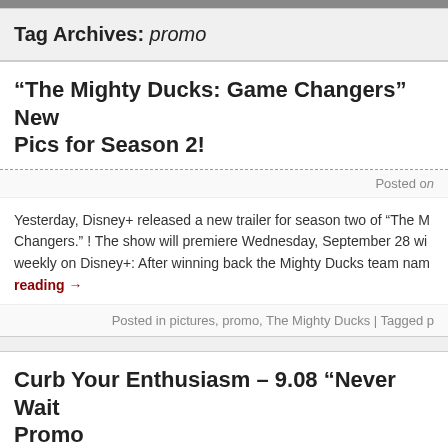Tag Archives: promo
“The Mighty Ducks: Game Changers” New Pics for Season 2!
Posted on
Yesterday, Disney+ released a new trailer for season two of “The M... Changers.” ! The show will premiere Wednesday, September 28 wi... weekly on Disney+: After winning back the Mighty Ducks team nam... reading →
Posted in pictures, promo, The Mighty Ducks | Tagged p
Curb Your Enthusiasm – 9.08 “Never Wait Promo
Posted on
Here’s the promo for next week’s episode of “Curb Your Enthusias... HBO. Picked (by our Cast) as the best (by David)...